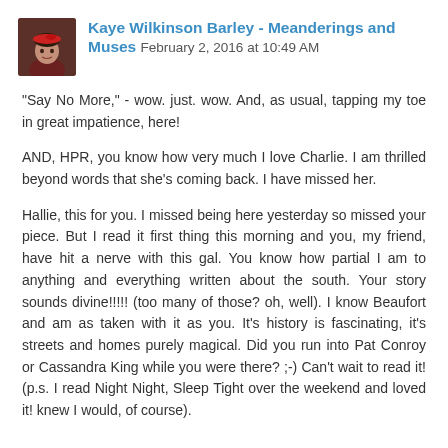[Figure (photo): Small avatar photo of a person wearing a red beret, shown from shoulders up, against a dark background.]
Kaye Wilkinson Barley - Meanderings and Muses  February 2, 2016 at 10:49 AM
"Say No More," - wow. just. wow. And, as usual, tapping my toe in great impatience, here!
AND, HPR, you know how very much I love Charlie. I am thrilled beyond words that she's coming back. I have missed her.
Hallie, this for you. I missed being here yesterday so missed your piece. But I read it first thing this morning and you, my friend, have hit a nerve with this gal. You know how partial I am to anything and everything written about the south. Your story sounds divine!!!!! (too many of those? oh, well). I know Beaufort and am as taken with it as you. It's history is fascinating, it's streets and homes purely magical. Did you run into Pat Conroy or Cassandra King while you were there? ;-) Can't wait to read it! (p.s. I read Night Night, Sleep Tight over the weekend and loved it! knew I would, of course).